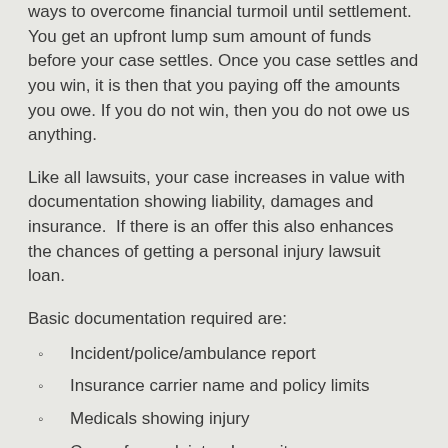ways to overcome financial turmoil until settlement. You get an upfront lump sum amount of funds before your case settles. Once you case settles and you win, it is then that you paying off the amounts you owe. If you do not win, then you do not owe us anything.
Like all lawsuits, your case increases in value with documentation showing liability, damages and insurance.  If there is an offer this also enhances the chances of getting a personal injury lawsuit loan.
Basic documentation required are:
Incident/police/ambulance report
Insurance carrier name and policy limits
Medicals showing injury
Copy of complaint or Lawsuit